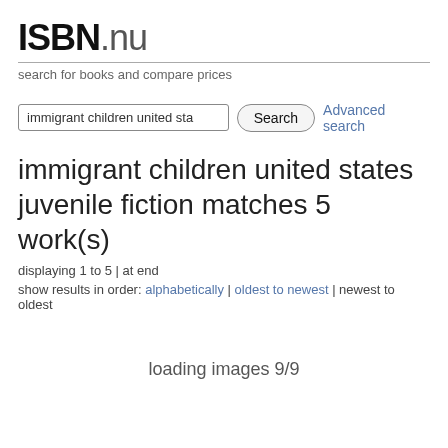ISBN.nu
search for books and compare prices
immigrant children united sta | Search | Advanced search
immigrant children united states juvenile fiction matches 5 work(s)
displaying 1 to 5 | at end
show results in order: alphabetically | oldest to newest | newest to oldest
loading images 9/9